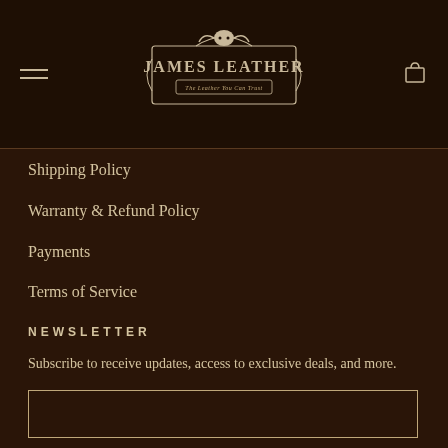[Figure (logo): James Leather logo with bull skull and decorative border, subtitle 'The Leather You Can Trust']
Shipping Policy
Warranty & Refund Policy
Payments
Terms of Service
NEWSLETTER
Subscribe to receive updates, access to exclusive deals, and more.